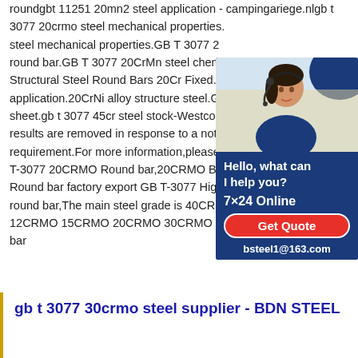roundgbt 11251 20mn2 steel application - campingariege.nlgb t 3077 20crmo steel mechanical properties. GB T 3077 20crMo steel mechanical properties.GB T 3077 20crmo round bar.GB T 3077 20CrMn steel chem... Structural Steel Round Bars 20Cr Fixed. application.20CrNi alloy structure steel.G... sheet.gb t 3077 45cr steel stock-Westcoa... results are removed in response to a noti... requirement.For more information,please... T-3077 20CRMO Round bar,20CRMO Ba... Round bar factory export GB T-3077 Hig... round bar,The main steel grade is 40CR 45CR 50CR 38CRSI 12CRMO 15CRMO 20CRMO 30CRMO 30CRMOA..If any round bar
[Figure (other): Advertisement widget with photo of a woman with headset, navy blue background. Text: Hello, what can I help you? 7×24 Online. Get Quote button. bsteel1@163.com]
gb t 3077 30crmo steel supplier - BDN STEEL